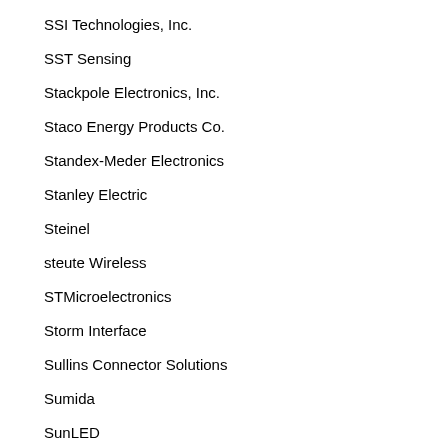SSI Technologies, Inc.
SST Sensing
Stackpole Electronics, Inc.
Staco Energy Products Co.
Standex-Meder Electronics
Stanley Electric
Steinel
steute Wireless
STMicroelectronics
Storm Interface
Sullins Connector Solutions
Sumida
SunLED
Sunon
Susumu